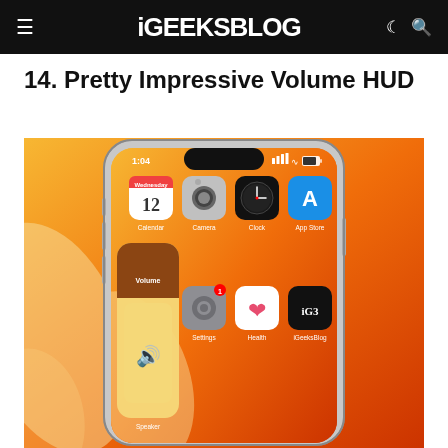iGEEKSBLOG
14. Pretty Impressive Volume HUD
[Figure (screenshot): iPhone X/11 screenshot showing home screen with apps (Calendar, Camera, Clock, App Store, Settings, Health, iGeeksBlog) and a Volume HUD overlay showing Speaker control with sound icon on an orange gradient wallpaper background.]